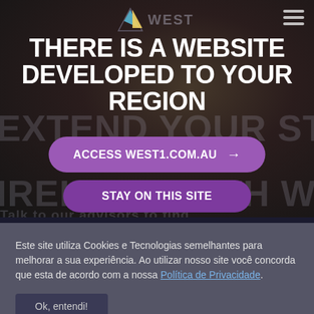[Figure (screenshot): Dark website overlay modal with photo background showing a regional redirect notice. Logo 'WEST 1' visible at top with navigation hamburger icon. Background text 'EXTEND YOUR STAY IN IRELAND WITH WEST 1' is partially visible. Two purple buttons overlay the content.]
THERE IS A WEBSITE DEVELOPED TO YOUR REGION
ACCESS WEST1.COM.AU →
STAY ON THIS SITE
Este site utiliza Cookies e Tecnologias semelhantes para melhorar a sua experiência. Ao utilizar nosso site você concorda que esta de acordo com a nossa Política de Privacidade.
Ok, entendi!